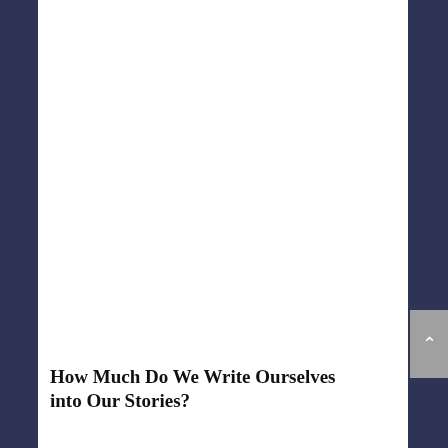How Much Do We Write Ourselves into Our Stories?